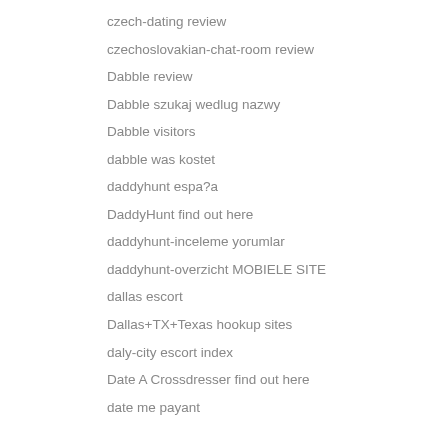czech-dating review
czechoslovakian-chat-room review
Dabble review
Dabble szukaj wedlug nazwy
Dabble visitors
dabble was kostet
daddyhunt espa?a
DaddyHunt find out here
daddyhunt-inceleme yorumlar
daddyhunt-overzicht MOBIELE SITE
dallas escort
Dallas+TX+Texas hookup sites
daly-city escort index
Date A Crossdresser find out here
date me payant